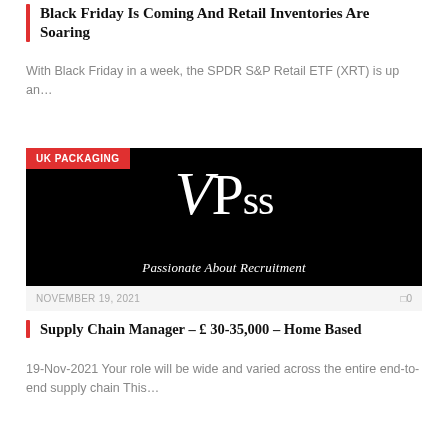Black Friday Is Coming And Retail Inventories Are Soaring
With Black Friday in a week, the SPDR S&P Retail ETF (XRT) is up an…
[Figure (logo): VPss recruitment company logo on black background with text 'Passionate About Recruitment' and red 'UK PACKAGING' badge]
NOVEMBER 19, 2021    0
Supply Chain Manager – £ 30-35,000 – Home Based
19-Nov-2021 Your role will be wide and varied across the entire end-to-end supply chain This…